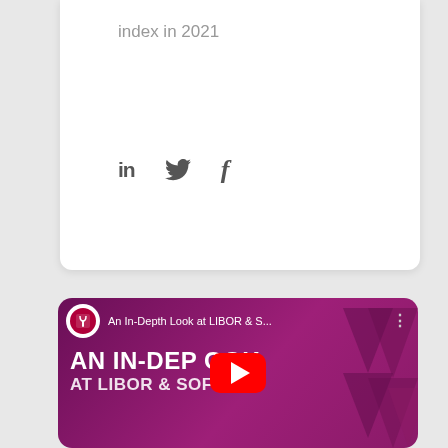index in 2021
[Figure (other): Social media share icons: LinkedIn (in), Twitter bird, Facebook (f)]
[Figure (screenshot): YouTube video thumbnail for 'An In-Depth Look at LIBOR & S...' with purple/magenta background showing 'AN IN-DEPTH LOOK AT LIBOR & SOFR' text, channel logo, and YouTube play button overlay]